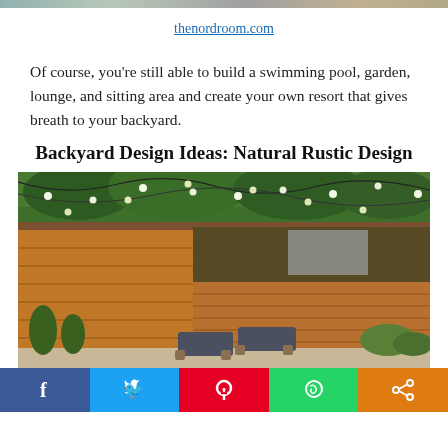[Figure (photo): Partial top strip of an image, blurred/cropped at the top of the page]
thenordroom.com
Of course, you're still able to build a swimming pool, garden, lounge, and sitting area and create your own resort that gives breath to your backyard.
Backyard Design Ideas: Natural Rustic Design
[Figure (photo): Outdoor backyard with a rustic wooden fence, string lights hanging overhead, lounge chairs on a patio, and lush green trees in the background.]
[Figure (other): Social media sharing bar at the bottom with Facebook, Twitter, Pinterest, WhatsApp, and Share buttons]